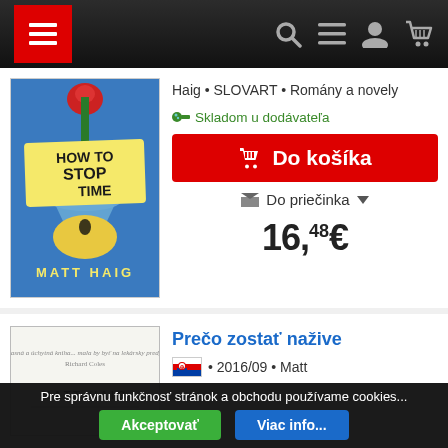Navigation bar with hamburger menu, search, list, profile, and cart icons
[Figure (photo): Book cover of 'How to Stop Time' by Matt Haig, published by SLOVART]
Haig · SLOVART · Romány a novely
Skladom u dodávateľa
Do košíka
Do priečinka
16,48€
[Figure (photo): Book cover of 'Prečo zostať nažive' by Matt Haig]
Prečo zostať nažive
• 2016/09 · Matt
Pre správnu funkčnosť stránok a obchodu používame cookies...
Akceptovať
Viac info...